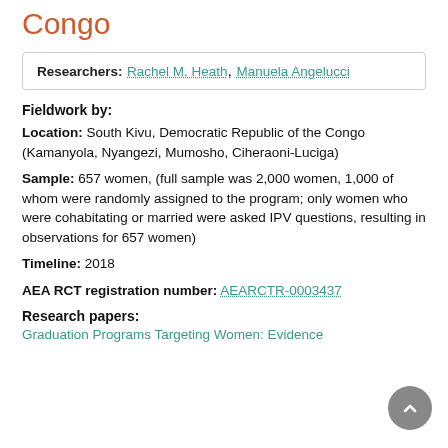Congo
Researchers: Rachel M. Heath, Manuela Angelucci
Fieldwork by:
Location: South Kivu, Democratic Republic of the Congo (Kamanyola, Nyangezi, Mumosho, Ciheraoni-Luciga)
Sample: 657 women, (full sample was 2,000 women, 1,000 of whom were randomly assigned to the program; only women who were cohabitating or married were asked IPV questions, resulting in observations for 657 women)
Timeline: 2018
AEA RCT registration number: AEARCTR-0003437
Research papers:
Graduation Programs Targeting Women: Evidence